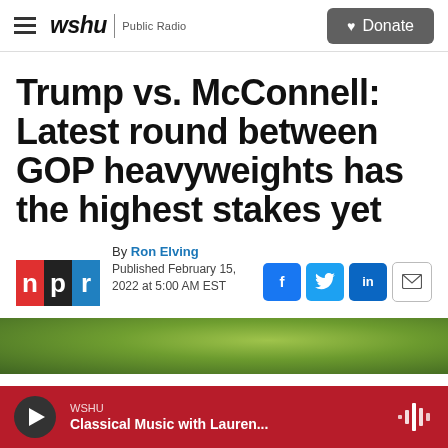wshu | Public Radio — Donate
Trump vs. McConnell: Latest round between GOP heavyweights has the highest stakes yet
By Ron Elving
Published February 15, 2022 at 5:00 AM EST
[Figure (photo): NPR logo and article byline with social sharing icons (Facebook, Twitter, LinkedIn, email). Green foliage photo strip below.]
WSHU — Classical Music with Lauren...